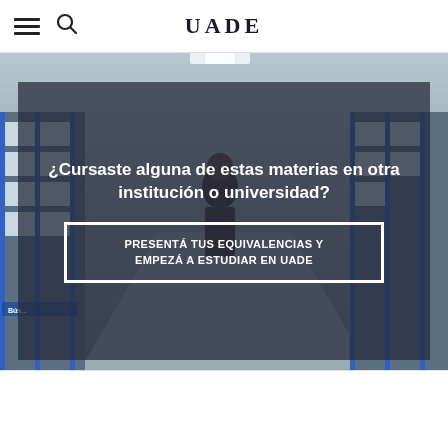UADE
[Figure (photo): Interior hallway of a university library with blue shelving units and a person walking, large number visible on the right side wall]
¿Cursaste alguna de estas materias en otra institución o universidad?
PRESENTÁ TUS EQUIVALENCIAS Y EMPEZÁ A ESTUDIAR EN UADE